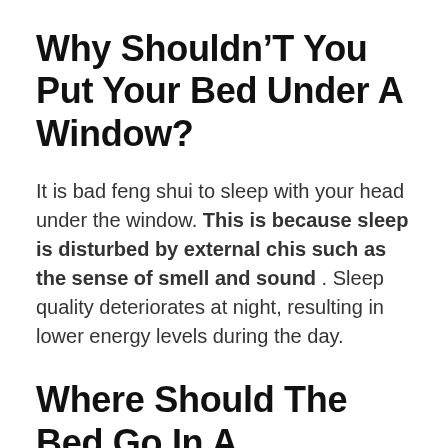Why Shouldn’T You Put Your Bed Under A Window?
It is bad feng shui to sleep with your head under the window. This is because sleep is disturbed by external chis such as the sense of smell and sound . Sleep quality deteriorates at night, resulting in lower energy levels during the day.
Where Should The Bed Go In A Bedroom?